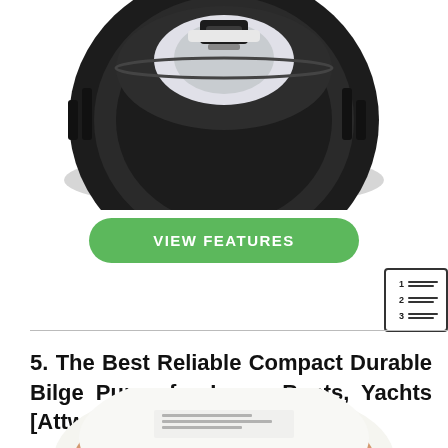[Figure (photo): Top portion of a black bilge pump, showing its circular ribbed housing and top mechanical components, cropped at the bottom of the image.]
VIEW FEATURES
[Figure (other): Table of contents icon showing numbered rows 1, 2, 3 with horizontal lines next to each number, inside a rounded rectangle border.]
5. The Best Reliable Compact Durable Bilge Pump for Large Boats, Yachts [Attwood Sahara]
[Figure (photo): Bottom portion of a white and brown bilge pump (Attwood Sahara), partially cropped, showing the top dome of the pump housing with text labels.]